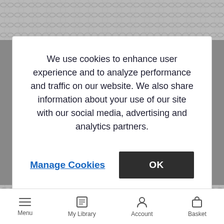[Figure (photo): Close-up of gray braided/knit textile fabric texture, top portion]
We use cookies to enhance user experience and to analyze performance and traffic on our website. We also share information about your use of our site with our social media, advertising and analytics partners.
Manage Cookies
OK
[Figure (photo): Close-up of gray braided/knit textile fabric texture, bottom portion with orange chat bubble button]
Menu  My Library  Account  Basket